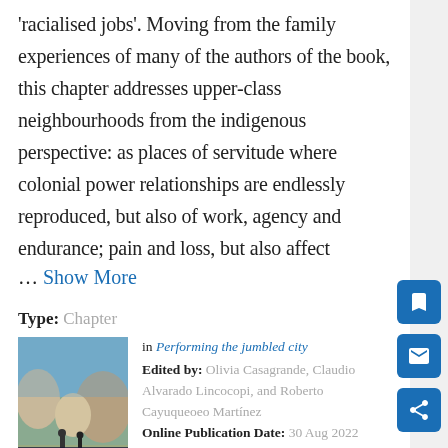'racialised jobs'. Moving from the family experiences of many of the authors of the book, this chapter addresses upper-class neighbourhoods from the indigenous perspective: as places of servitude where colonial power relationships are endlessly reproduced, but also of work, agency and endurance; pain and loss, but also affect
… Show More
Type: Chapter
[Figure (photo): Book cover of 'Performing the Jumbled City' showing a city street scene with rocky formations and people walking]
in Performing the jumbled city Edited by: Olivia Casagrande, Claudio Alvarado Lincocopi, and Roberto Cayuqueoeo Martínez Online Publication Date: 30 Aug 2022